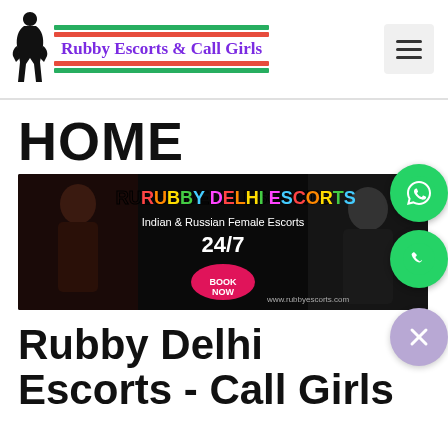[Figure (logo): Rubby Escorts & Call Girls logo with silhouette figure, green and red horizontal bars, and purple brand text]
HOME
[Figure (illustration): Rubby Delhi Escorts banner showing text 'RUBBY DELHI ESCORTS', 'Indian & Russian Female Escorts', '24/7', 'BOOK NOW', 'www.rubbyescorts.com' with female figures and WhatsApp/call floating buttons]
Rubby Delhi Escorts - Call Girls